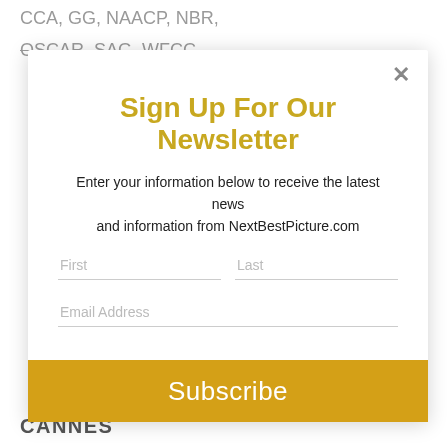CCA, GG, NAACP, NBR,
OSCAR, SAG, WFCC
Sign Up For Our Newsletter
Enter your information below to receive the latest news and information from NextBestPicture.com
[Figure (screenshot): Newsletter signup modal form with First, Last, and Email Address fields, and a yellow Subscribe button]
CANNES